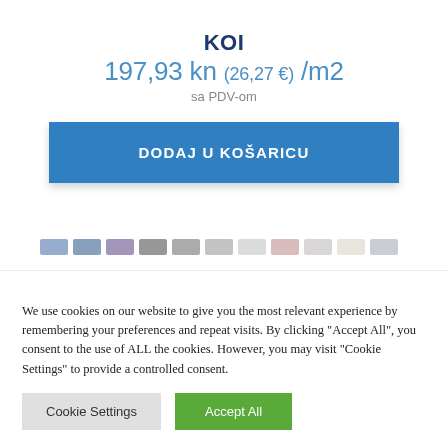KOI
197,93 kn (26,27 €) /m2
sa PDV-om
DODAJ U KOŠARICU
[Figure (other): Row of color swatches in various colors]
We use cookies on our website to give you the most relevant experience by remembering your preferences and repeat visits. By clicking "Accept All", you consent to the use of ALL the cookies. However, you may visit "Cookie Settings" to provide a controlled consent.
Cookie Settings
Accept All